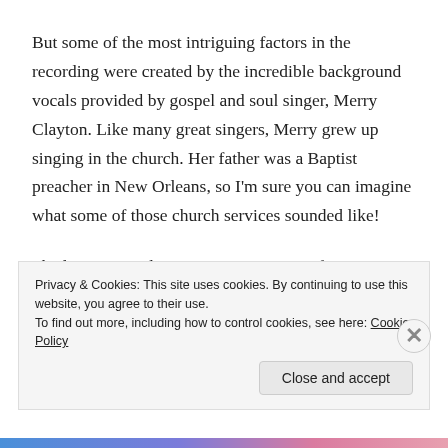But some of the most intriguing factors in the recording were created by the incredible background vocals provided by gospel and soul singer, Merry Clayton. Like many great singers, Merry grew up singing in the church. Her father was a Baptist preacher in New Orleans, so I'm sure you can imagine what some of those church services sounded like!
She later pursued singing as a career, performing backing vocals for Bobby Darin, Elvis Presley and The Supremes among many others, but is probably best known for her
Privacy & Cookies: This site uses cookies. By continuing to use this website, you agree to their use.
To find out more, including how to control cookies, see here: Cookie Policy